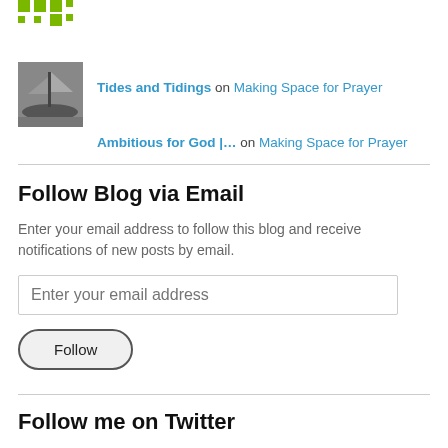[Figure (logo): Green dot grid logo (Gravatar-style icon with 9 green squares arranged in a 3x3 pattern)]
Tides and Tidings on Making Space for Prayer
Ambitious for God |… on Making Space for Prayer
Follow Blog via Email
Enter your email address to follow this blog and receive notifications of new posts by email.
Follow me on Twitter